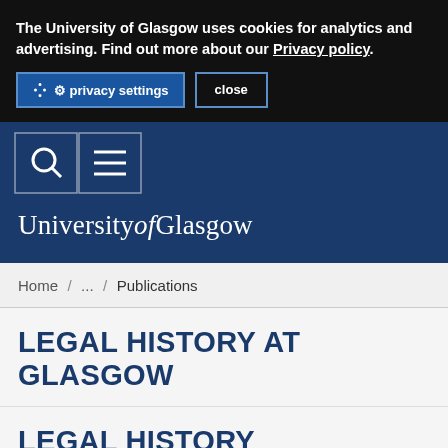The University of Glasgow uses cookies for analytics and advertising. Find out more about our Privacy policy.
privacy settings   close
[Figure (logo): University of Glasgow navigation bar with search (magnifying glass) and menu (hamburger) icons on dark blue background]
University of Glasgow
Home / ... / Publications
LEGAL HISTORY AT GLASGOW
LEGAL HISTORY PUBLICATIONS